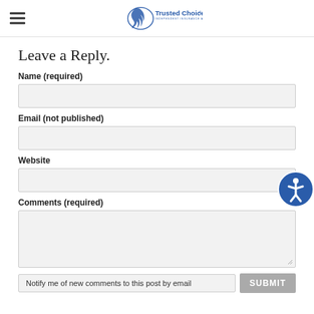Trusted Choice Independent Insurance Agents
Leave a Reply.
Name (required)
Email (not published)
Website
Comments (required)
Notify me of new comments to this post by email
SUBMIT